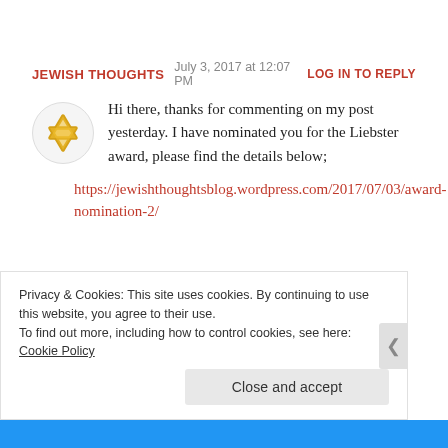JEWISH THOUGHTS   July 3, 2017 at 12:07 PM   LOG IN TO REPLY
[Figure (illustration): Circular avatar icon with a Star of David in gold/yellow color on light grey background]
Hi there, thanks for commenting on my post yesterday. I have nominated you for the Liebster award, please find the details below;
https://jewishthoughtsblog.wordpress.com/2017/07/03/award-nomination-2/
Privacy & Cookies: This site uses cookies. By continuing to use this website, you agree to their use.
To find out more, including how to control cookies, see here: Cookie Policy
Close and accept